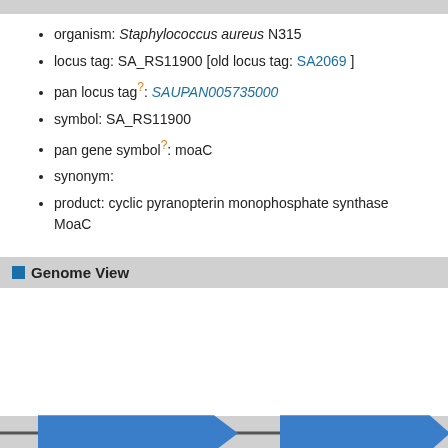organism: Staphylococcus aureus N315
locus tag: SA_RS11900 [old locus tag: SA2069 ]
pan locus tag?: SAUPAN005735000
symbol: SA_RS11900
pan gene symbol?: moaC
synonym:
product: cyclic pyranopterin monophosphate synthase MoaC
Genome View
[Figure (other): Genome view diagram showing two blue forward-pointing gene arrows on a horizontal genomic track with gray background]